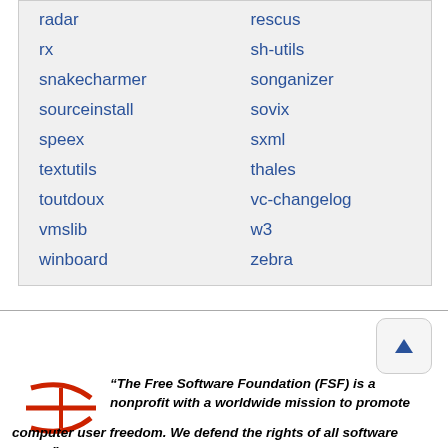| radar | rescus |
| rx | sh-utils |
| snakecharmer | songanizer |
| sourceinstall | sovix |
| speex | sxml |
| textutils | thales |
| toutdoux | vc-changelog |
| vmslib | w3 |
| winboard | zebra |
[Figure (other): Scroll to top button with upward triangle arrow]
[Figure (logo): FSF (Free Software Foundation) logo in red]
“The Free Software Foundation (FSF) is a nonprofit with a worldwide mission to promote computer user freedom. We defend the rights of all software users.”
JOIN
DONATE
SHOP